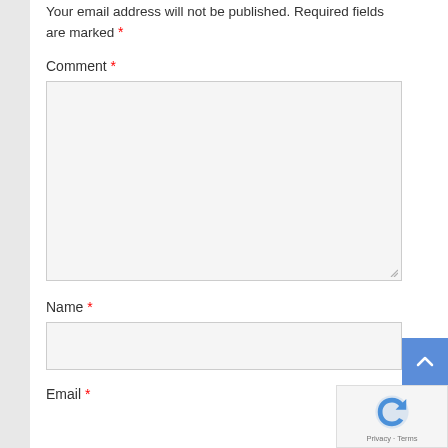Your email address will not be published. Required fields are marked *
Comment *
[Figure (screenshot): Empty comment textarea form field with light gray background and resize handle at bottom right]
Name *
[Figure (screenshot): Empty name input form field with light gray background]
Email *
[Figure (screenshot): Scroll-to-top button (blue square with white up arrow) and reCAPTCHA widget overlaid on right side]